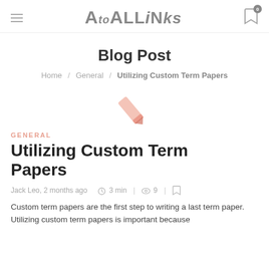AtoALLiNks — blog site header with hamburger menu and bookmark icon
Blog Post
Home / General / Utilizing Custom Term Papers
[Figure (illustration): A pink/salmon colored diagonal pencil or eraser shape on white background]
GENERAL
Utilizing Custom Term Papers
Jack Leo, 2 months ago   3 min  |   9  |
Custom term papers are the first step to writing a last term paper. Utilizing custom term papers is important because